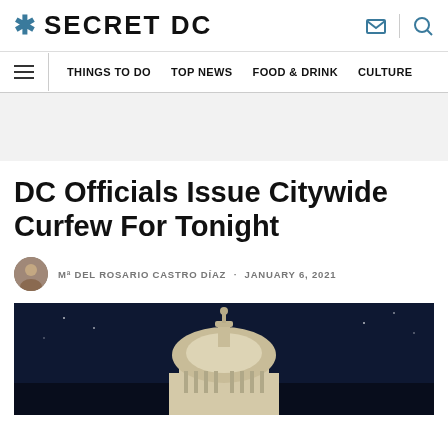SECRET DC
THINGS TO DO · TOP NEWS · FOOD & DRINK · CULTURE
DC Officials Issue Citywide Curfew For Tonight
Mª DEL ROSARIO CASTRO DÍAZ · JANUARY 6, 2021
[Figure (photo): Night photograph of the US Capitol dome against a dark blue sky]